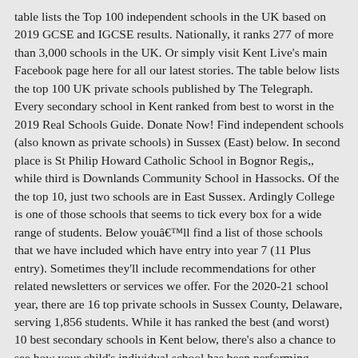table lists the Top 100 independent schools in the UK based on 2019 GCSE and IGCSE results. Nationally, it ranks 277 of more than 3,000 schools in the UK. Or simply visit Kent Live's main Facebook page here for all our latest stories. The table below lists the top 100 UK private schools published by The Telegraph. Every secondary school in Kent ranked from best to worst in the 2019 Real Schools Guide. Donate Now! Find independent schools (also known as private schools) in Sussex (East) below. In second place is St Philip Howard Catholic School in Bognor Regis,, while third is Downlands Community School in Hassocks. Of the the top 10, just two schools are in East Sussex. Ardingly College is one of those schools that seems to tick every box for a wide range of students. Below youâll find a list of those schools that we have included which have entry into year 7 (11 Plus entry). Sometimes they'll include recommendations for other related newsletters or services we offer. For the 2020-21 school year, there are 16 top private schools in Sussex County, Delaware, serving 1,856 students. While it has ranked the best (and worst) 10 best secondary schools in Kent below, there's also a chance to see how your child's individual school has been performing. ©1998-2020 GreatSchools.org All Rights Reserved. Date of latest full report: â| It takes into account 44 different data points - including not just KS2 results but factors like progress, pupil-teacher ratios and absence